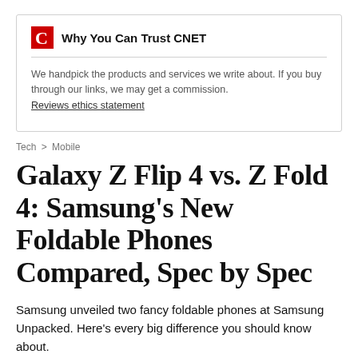Why You Can Trust CNET
We handpick the products and services we write about. If you buy through our links, we may get a commission.
Reviews ethics statement
Tech > Mobile
Galaxy Z Flip 4 vs. Z Fold 4: Samsung's New Foldable Phones Compared, Spec by Spec
Samsung unveiled two fancy foldable phones at Samsung Unpacked. Here's every big difference you should know about.